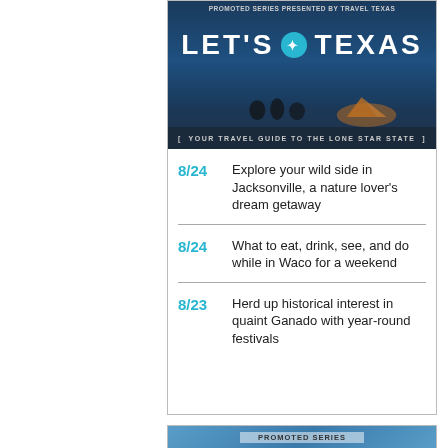[Figure (illustration): Promoted Series banner for Let's Texas - Travel Texas. Shows 'LET'S TEXAS' in large white bold text with a Texas state outline badge, tagline 'YOUR TRAVEL GUIDE TO THE LONE STAR STATE', and a nighttime camping scene with people and a tent.]
8/24  Explore your wild side in Jacksonville, a nature lover's dream getaway
8/24  What to eat, drink, see, and do while in Waco for a weekend
8/23  Herd up historical interest in quaint Ganado with year-round festivals
[Figure (illustration): Promoted Series banner for Inwood Village. Shows 'INWOOD VILLAGE' in large dark bold text on a blue gradient background with a decorative badge/emblem on the right.]